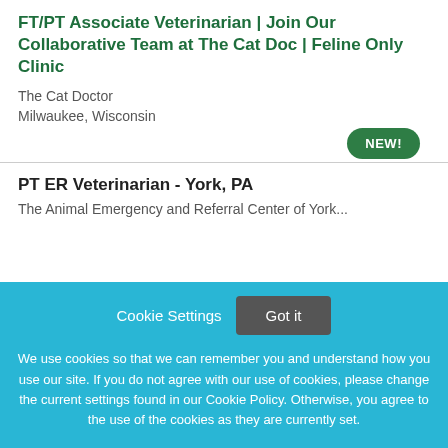FT/PT Associate Veterinarian | Join Our Collaborative Team at The Cat Doc | Feline Only Clinic
The Cat Doctor
Milwaukee, Wisconsin
NEW!
PT ER Veterinarian - York, PA
The Animal Emergency and Referral Center of York...
Cookie Settings  Got it

We use cookies so that we can remember you and understand how you use our site. If you do not agree with our use of cookies, please change the current settings found in our Cookie Policy. Otherwise, you agree to the use of the cookies as they are currently set.